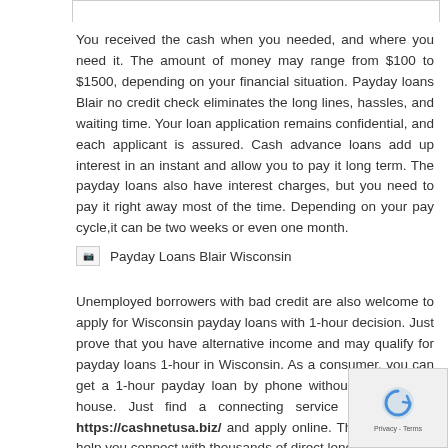You received the cash when you needed, and where you need it. The amount of money may range from $100 to $1500, depending on your financial situation. Payday loans Blair no credit check eliminates the long lines, hassles, and waiting time. Your loan application remains confidential, and each applicant is assured. Cash advance loans add up interest in an instant and allow you to pay it long term. The payday loans also have interest charges, but you need to pay it right away most of the time. Depending on your pay cycle,it can be two weeks or even one month.
[Figure (photo): Broken image placeholder labeled 'Payday Loans Blair Wisconsin']
Unemployed borrowers with bad credit are also welcome to apply for Wisconsin payday loans with 1-hour decision. Just prove that you have alternative income and may qualify for payday loans 1-hour in Wisconsin. As a consumer, you can get a 1-hour payday loan by phone without leaving your house. Just find a connecting service in Wisconsin https://cashnetusa.biz/ and apply online. This service will help you connect with thousands of direct lenders to give